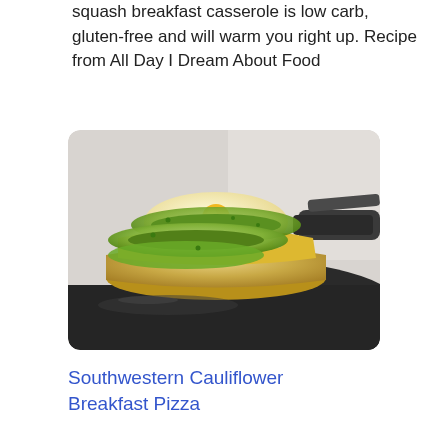squash breakfast casserole is low carb, gluten-free and will warm you right up. Recipe from All Day I Dream About Food
[Figure (photo): A cauliflower breakfast pizza with avocado slices and fried egg on top, being lifted from a cast iron skillet with a spatula.]
Southwestern Cauliflower Breakfast Pizza